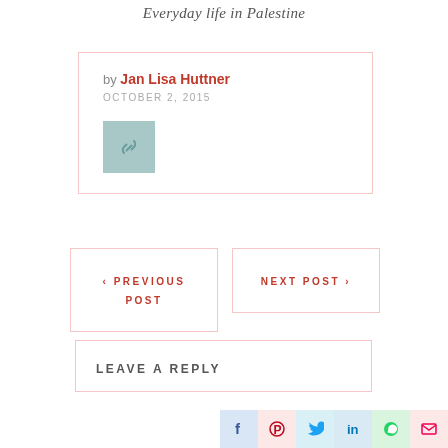Everyday life in Palestine
by Jan Lisa Huttner
OCTOBER 2, 2015
[Figure (illustration): Link/chain icon in a teal/muted blue-green square button]
< PREVIOUS POST
NEXT POST >
LEAVE A REPLY
[Figure (infographic): Social sharing icons row: Facebook, Pinterest, Twitter, LinkedIn, WhatsApp, Email]